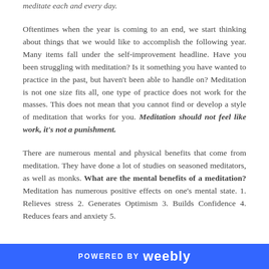meditate each and every day.
Oftentimes when the year is coming to an end, we start thinking about things that we would like to accomplish the following year. Many items fall under the self-improvement headline. Have you been struggling with meditation? Is it something you have wanted to practice in the past, but haven't been able to handle on? Meditation is not one size fits all, one type of practice does not work for the masses. This does not mean that you cannot find or develop a style of meditation that works for you. Meditation should not feel like work, it's not a punishment.
There are numerous mental and physical benefits that come from meditation. They have done a lot of studies on seasoned meditators, as well as monks. What are the mental benefits of a meditation? Meditation has numerous positive effects on one's mental state. 1. Relieves stress 2. Generates Optimism 3. Builds Confidence 4. Reduces fears and anxiety 5.
POWERED BY weebly